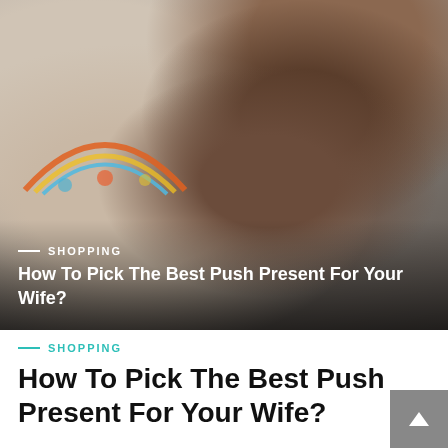[Figure (photo): A mother holding a baby with colorful toy mobile visible in background. Photo has dark overlay at bottom with text overlay showing article category and title.]
SHOPPING
How To Pick The Best Push Present For Your Wife?
SHOPPING
How To Pick The Best Push Present For Your Wife?